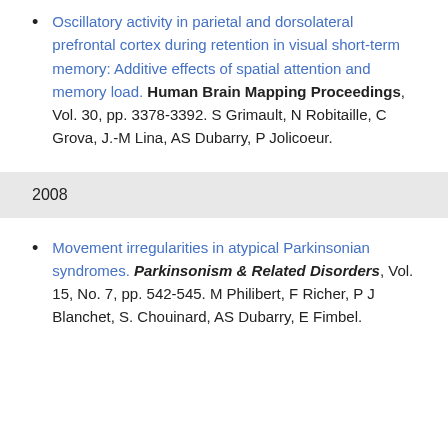Oscillatory activity in parietal and dorsolateral prefrontal cortex during retention in visual short-term memory: Additive effects of spatial attention and memory load. Human Brain Mapping Proceedings, Vol. 30, pp. 3378-3392. S Grimault, N Robitaille, C Grova, J.-M Lina, AS Dubarry, P Jolicoeur.
2008
Movement irregularities in atypical Parkinsonian syndromes. Parkinsonism & Related Disorders, Vol. 15, No. 7, pp. 542-545. M Philibert, F Richer, P J Blanchet, S. Chouinard, AS Dubarry, E Fimbel.